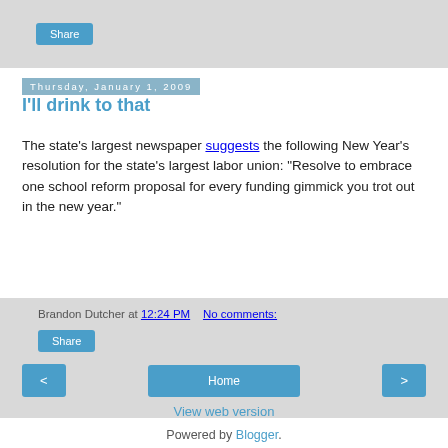Share
Thursday, January 1, 2009
I'll drink to that
The state's largest newspaper suggests the following New Year's resolution for the state's largest labor union: "Resolve to embrace one school reform proposal for every funding gimmick you trot out in the new year."
Brandon Dutcher at 12:24 PM   No comments:
Share
< Home >
View web version
Powered by Blogger.